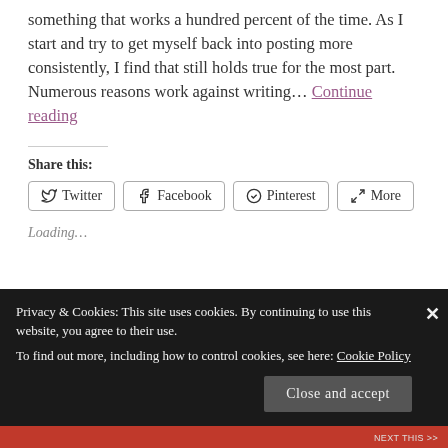something that works a hundred percent of the time. As I start and try to get myself back into posting more consistently, I find that still holds true for the most part. Numerous reasons work against writing… Continue reading
Share this:
Twitter
Facebook
Pinterest
More
Loading…
Privacy & Cookies: This site uses cookies. By continuing to use this website, you agree to their use. To find out more, including how to control cookies, see here: Cookie Policy